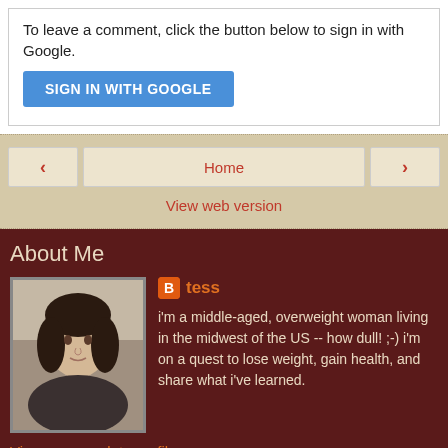To leave a comment, click the button below to sign in with Google.
[Figure (screenshot): Blue 'SIGN IN WITH GOOGLE' button]
[Figure (screenshot): Navigation bar with left arrow, Home button, and right arrow, plus View web version link]
About Me
[Figure (photo): Profile photo of a woman with dark hair]
tess
i'm a middle-aged, overweight woman living in the midwest of the US -- how dull! ;-) i'm on a quest to lose weight, gain health, and share what i've learned.
View my complete profile
Powered by Blogger.